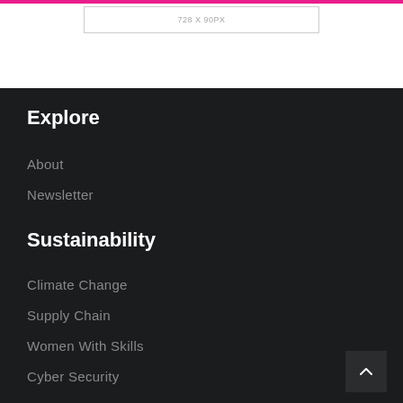[Figure (other): Advertisement placeholder box showing dimensions 728 x 90px]
Explore
About
Newsletter
Sustainability
Climate Change
Supply Chain
Women With Skills
Cyber Security